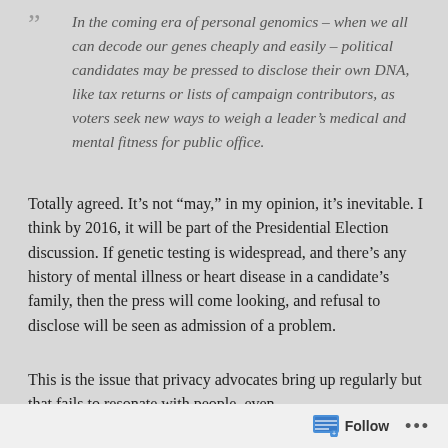“In the coming era of personal genomics – when we all can decode our genes cheaply and easily – political candidates may be pressed to disclose their own DNA, like tax returns or lists of campaign contributors, as voters seek new ways to weigh a leader’s medical and mental fitness for public office.
Totally agreed. It’s not “may,” in my opinion, it’s inevitable. I think by 2016, it will be part of the Presidential Election discussion. If genetic testing is widespread, and there’s any history of mental illness or heart disease in a candidate’s family, then the press will come looking, and refusal to disclose will be seen as admission of a problem.
This is the issue that privacy advocates bring up regularly but that fails to resonate with people, even
Follow ...